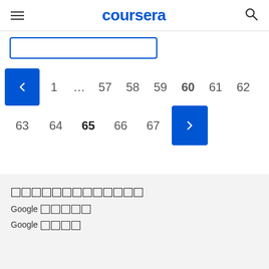coursera
[Figure (screenshot): Partial enroll/join button with blue border, partially visible at top]
Pagination: < 1 ... 57 58 59 60 61 62 63 64 65 66 67 >
Footer section with placeholder text (tofu characters) and links: Google [tofu], Google [tofu]